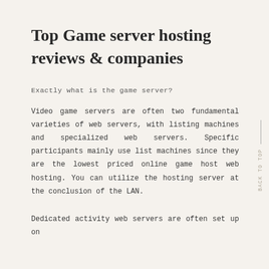Top Game server hosting reviews & companies
Exactly what is the game server?
Video game servers are often two fundamental varieties of web servers, with listing machines and specialized web servers. Specific participants mainly use list machines since they are the lowest priced online game host web hosting. You can utilize the hosting server at the conclusion of the LAN.
Dedicated activity web servers are often set up on